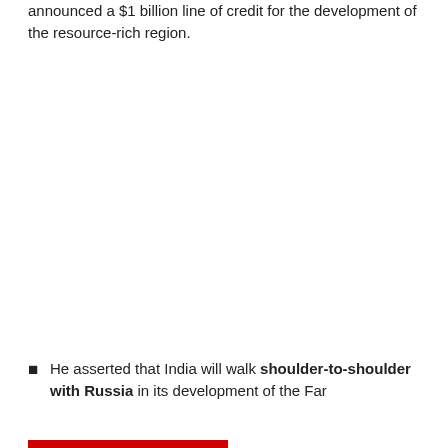announced a $1 billion line of credit for the development of the resource-rich region.
He asserted that India will walk shoulder-to-shoulder with Russia in its development of the Far East.